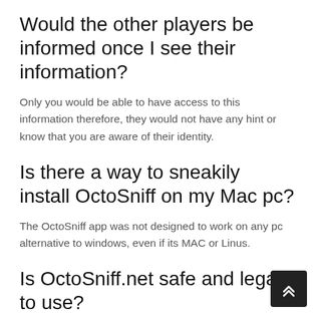Would the other players be informed once I see their information?
Only you would be able to have access to this information therefore, they would not have any hint or know that you are aware of their identity.
Is there a way to sneakily install OctoSniff on my Mac pc?
The OctoSniff app was not designed to work on any pc alternative to windows, even if its MAC or Linus.
Is OctoSniff.net safe and legal to use?
OctoSniff is totally safe and legit for you as a